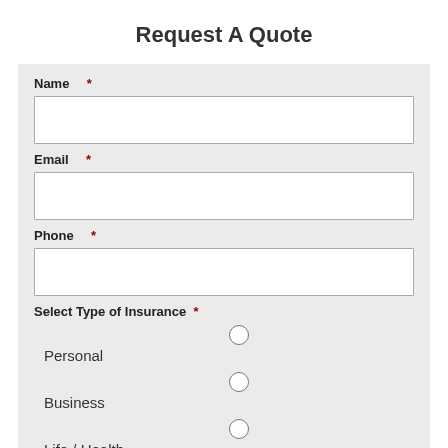Request A Quote
Name *
Email *
Phone *
Select Type of Insurance *
Personal
Business
Life / Health